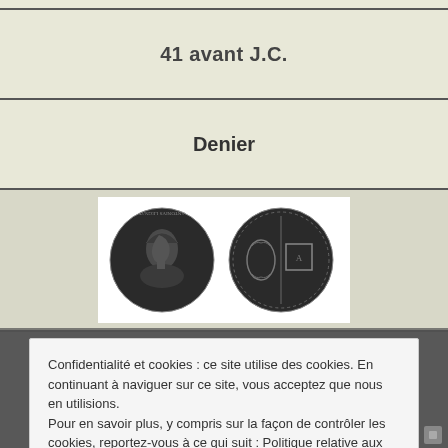41 avant J.C.
Denier
[Figure (photo): Two ancient Roman silver coins (denarii) side by side: left coin shows a portrait bust facing right with inscriptions around the edge; right coin shows a reverse design with a wreath and a square tablet with symbols, surrounded by a beaded border.]
Confidentialité et cookies : ce site utilise des cookies. En continuant à naviguer sur ce site, vous acceptez que nous en utilisions.
Pour en savoir plus, y compris sur la façon de contrôler les cookies, reportez-vous à ce qui suit : Politique relative aux cookies
Fermer et accepter